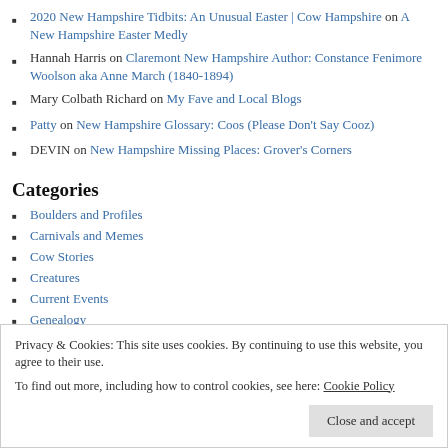2020 New Hampshire Tidbits: An Unusual Easter | Cow Hampshire on A New Hampshire Easter Medly
Hannah Harris on Claremont New Hampshire Author: Constance Fenimore Woolson aka Anne March (1840-1894)
Mary Colbath Richard on My Fave and Local Blogs
Patty on New Hampshire Glossary: Coos (Please Don't Say Cooz)
DEVIN on New Hampshire Missing Places: Grover's Corners
Categories
Boulders and Profiles
Carnivals and Memes
Cow Stories
Creatures
Current Events
Genealogy
Haunted New Hampshire
History
Holidays
Privacy & Cookies: This site uses cookies. By continuing to use this website, you agree to their use. To find out more, including how to control cookies, see here: Cookie Policy
N.H. Historical Markers